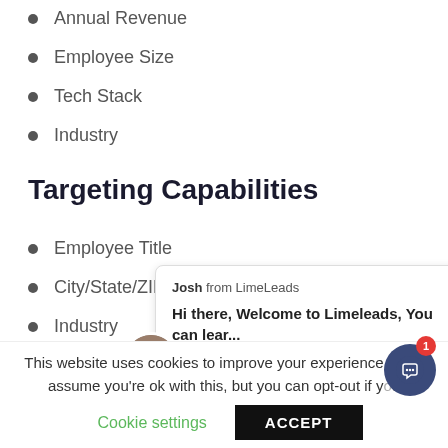Annual Revenue
Employee Size
Tech Stack
Industry
Targeting Capabilities
Employee Title
City/State/ZIP
Industry
[Figure (screenshot): Chat bubble from Josh at LimeLeads saying 'Hi there, Welcome to Limeleads, You can lear...' with avatar photo of a man]
This website uses cookies to improve your experience. We'll assume you're ok with this, but you can opt-out if you
Cookie settings    ACCEPT